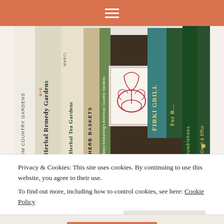[Figure (photo): Navigation header bar with orange/terracotta background and hamburger menu icon (three white horizontal lines) centered.]
[Figure (photo): Photograph of a shelf of books viewed from the spine angle. Visible book titles include: 'Country Gardens', 'Herbal Remedy Gardens', 'Herbal Tea Gardens', 'Herb Baskets', 'Mary Emmerling's American Country Gardens', 'Fikki Grill' (partial), 'For B...' (partial), 'Bumblebees', 'Owel & Effur'. A card with red botanical illustration (basket/watering can motif) is leaning against the books.]
Privacy & Cookies: This site uses cookies. By continuing to use this website, you agree to their use.
To find out more, including how to control cookies, see here: Cookie Policy
Close and accept